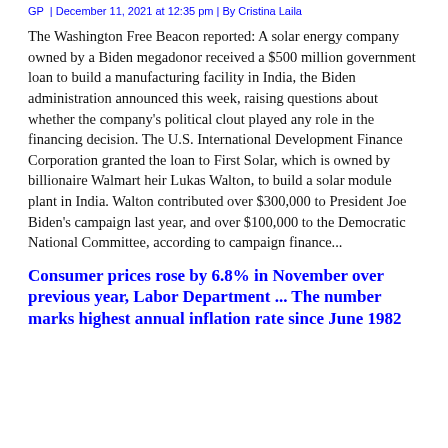GP  | December 11, 2021 at 12:35 pm | By Cristina Laila
The Washington Free Beacon reported: A solar energy company owned by a Biden megadonor received a $500 million government loan to build a manufacturing facility in India, the Biden administration announced this week, raising questions about whether the company’s political clout played any role in the financing decision. The U.S. International Development Finance Corporation granted the loan to First Solar, which is owned by billionaire Walmart heir Lukas Walton, to build a solar module plant in India. Walton contributed over $300,000 to President Joe Biden’s campaign last year, and over $100,000 to the Democratic National Committee, according to campaign finance...
Consumer prices rose by 6.8% in November over previous year, Labor Department ... The number marks highest annual inflation rate since June 1982